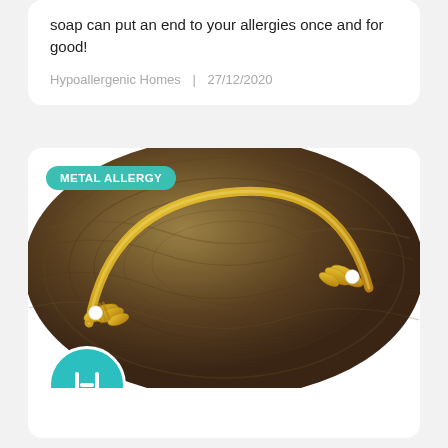soap can put an end to your allergies once and for good!
Hypoallergenic Homes  |  27/12/2020
[Figure (photo): A gold brass open-ended bangle bracelet with wing and pearl/moonstone tips, resting on a dark wooden surface. A teal badge reads 'METAL ALLERGY' in the top left. A teal circular logo with 'H' is overlaid at the bottom left of the image.]
Brass Allergies: Everything you need to know